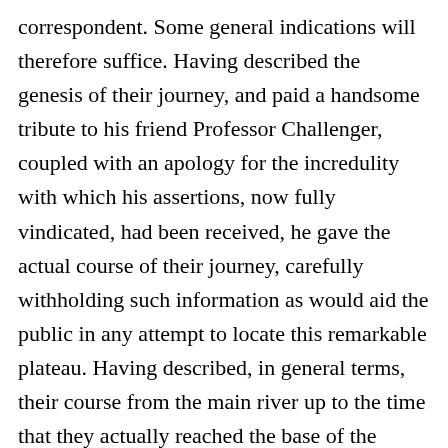correspondent. Some general indications will therefore suffice. Having described the genesis of their journey, and paid a handsome tribute to his friend Professor Challenger, coupled with an apology for the incredulity with which his assertions, now fully vindicated, had been received, he gave the actual course of their journey, carefully withholding such information as would aid the public in any attempt to locate this remarkable plateau. Having described, in general terms, their course from the main river up to the time that they actually reached the base of the cliffs, he enthralled his hearers by his account of the difficulties encountered by the expedition in their